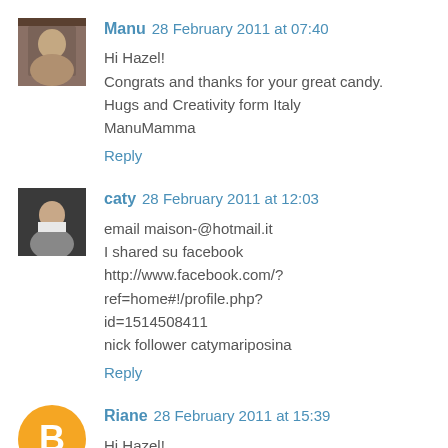Manu 28 February 2011 at 07:40
Hi Hazel!
Congrats and thanks for your great candy.
Hugs and Creativity form Italy
ManuMamma
Reply
caty 28 February 2011 at 12:03
email maison-@hotmail.it
I shared su facebook
http://www.facebook.com/?ref=home#!/profile.php?id=1514508411
nick follower catymariposina
Reply
Riane 28 February 2011 at 15:39
Hi Hazel!